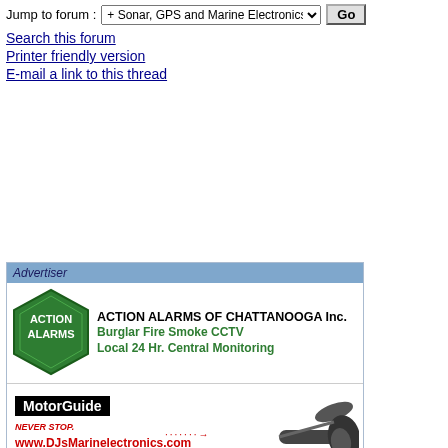Jump to forum : + Sonar, GPS and Marine Electronics  Go
Search this forum
Printer friendly version
E-mail a link to this thread
[Figure (infographic): Advertiser box containing three advertisement banners: Action Alarms of Chattanooga Inc. (Burglar Fire Smoke CCTV, Local 24 Hr. Central Monitoring), MotorGuide NEVER STOP - www.DJsMarinelectronics.com with motor image, and Chattanooga Fishing Forum.com ADVERTISE HERE!]